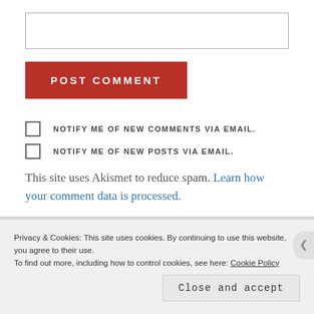[text input box]
POST COMMENT
NOTIFY ME OF NEW COMMENTS VIA EMAIL.
NOTIFY ME OF NEW POSTS VIA EMAIL.
This site uses Akismet to reduce spam. Learn how your comment data is processed.
Privacy & Cookies: This site uses cookies. By continuing to use this website, you agree to their use.
To find out more, including how to control cookies, see here: Cookie Policy
Close and accept